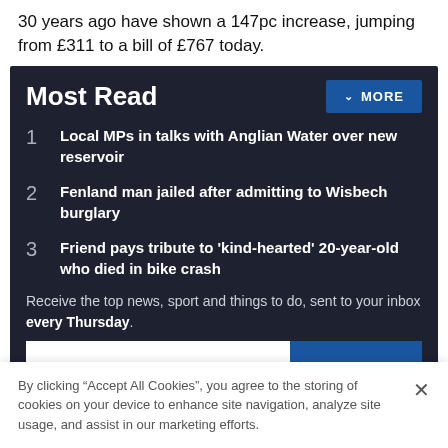30 years ago have shown a 147pc increase, jumping from £311 to a bill of £767 today.
Most Read
1 Local MPs in talks with Anglian Water over new reservoir
2 Fenland man jailed after admitting to Wisbech burglary
3 Friend pays tribute to 'kind-hearted' 20-year-old who died in bike crash
Receive the top news, sport and things to do, sent to your inbox every Thursday.
By clicking "Accept All Cookies", you agree to the storing of cookies on your device to enhance site navigation, analyze site usage, and assist in our marketing efforts.